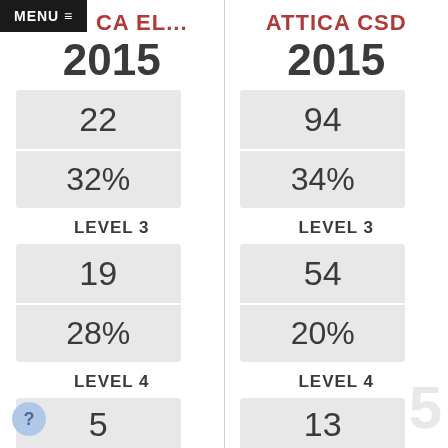MENU ≡
ATTICA EL...
ATTICA CSD
2015
2015
| 22 |
| 32% |
| 94 |
| 34% |
LEVEL 3
LEVEL 3
| 19 |
| 28% |
| 54 |
| 20% |
LEVEL 4
LEVEL 4
| 5 |
| 13 |